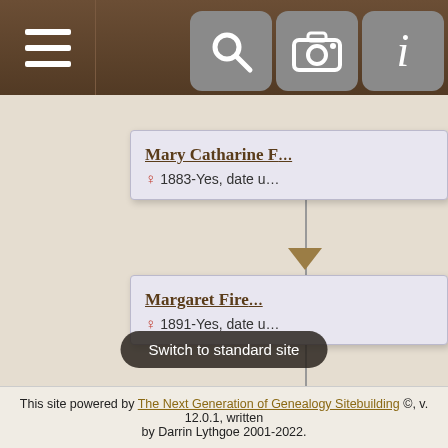Genealogy site header with menu and icons
[Figure (other): Genealogy tree cards showing: Mary Catharine F... (female, 1883-Yes, date u...), Margaret Fire... (female, 1891-Yes, date u...), Lucy Firesti... (female, 1891-Yes, date u...) with connecting lines and down arrows between cards]
Switch to standard site
This site powered by The Next Generation of Genealogy Sitebuilding ©, v. 12.0.1, written by Darrin Lythgoe 2001-2022.